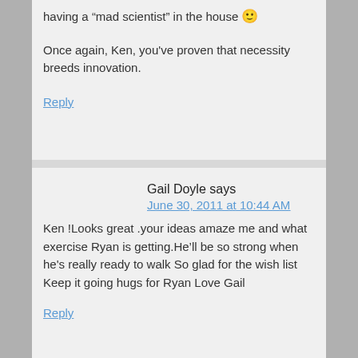having a “mad scientist” in the house 🙂
Once again, Ken, you've proven that necessity breeds innovation.
Reply
Gail Doyle says
June 30, 2011 at 10:44 AM
Ken !Looks great .your ideas amaze me and what exercise Ryan is getting.He’ll be so strong when he's really ready to walk So glad for the wish list Keep it going hugs for Ryan Love Gail
Reply